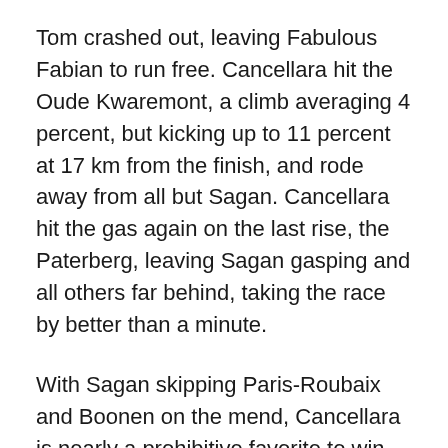Tom crashed out, leaving Fabulous Fabian to run free. Cancellara hit the Oude Kwaremont, a climb averaging 4 percent, but kicking up to 11 percent at 17 km from the finish, and rode away from all but Sagan. Cancellara hit the gas again on the last rise, the Paterberg, leaving Sagan gasping and all others far behind, taking the race by better than a minute.
With Sagan skipping Paris-Roubaix and Boonen on the mend, Cancellara is nearly a prohibitive favorite to win his third “Hell of the North”.
The bikes used on these Cobbled Classics have become a hot commodity. The Specialized Roubaix, with its Zerts inserts and comfortable geometry has been a favorite for casual riders for nearly a decade. My bike is the 2004 version, and the newer editions are quite common on